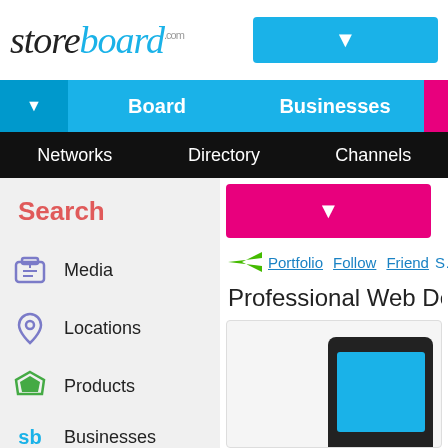storeboard.com
Board | Businesses
Networks | Directory | Channels
Search
Media
Locations
Products
Businesses
Groups
Portfolio   Follow   Friend   S…
Professional Web Design…
[Figure (screenshot): Preview of a web design on a tablet/monitor device]